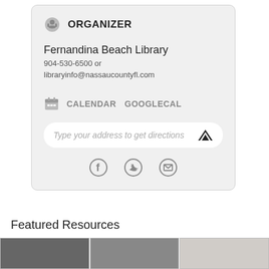ORGANIZER
Fernandina Beach Library
904-530-6500 or
libraryinfo@nassaucountyfl.com
CALENDAR  GOOGLECAL
[Figure (screenshot): Input field with placeholder text: Type your address to get directions, with a road/navigation icon on the right]
[Figure (infographic): Social sharing icons: Facebook, Twitter, Email]
Featured Resources
[Figure (photo): Three thumbnail images in a row for featured resources]